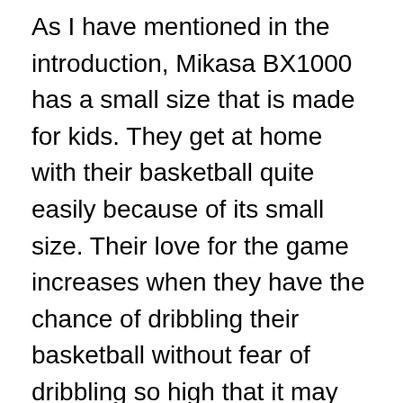As I have mentioned in the introduction, Mikasa BX1000 has a small size that is made for kids. They get at home with their basketball quite easily because of its small size. Their love for the game increases when they have the chance of dribbling their basketball without fear of dribbling so high that it may hit their nose. This small size remains convenient even at the age of 8. This tender age does not allow playing an aggressive game like basketball. However, the attraction for basketball remains the same at every age. Therefore, Mikasa BX1000 is prescribed for the parents